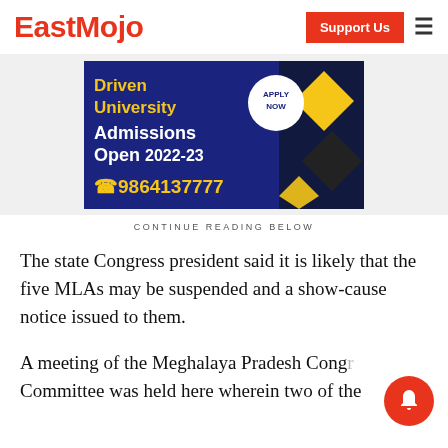EastMojo | Support Us
[Figure (infographic): University admissions advertisement banner with dark blue background. Text reads: Driven University, Admissions Open 2022-23, phone 9864137777, with Apply Now circle badge and geometric yellow/black diamond shapes.]
CONTINUE READING BELOW
The state Congress president said it is likely that the five MLAs may be suspended and a show-cause notice issued to them.
A meeting of the Meghalaya Pradesh Congress Committee was held here wherein two of the